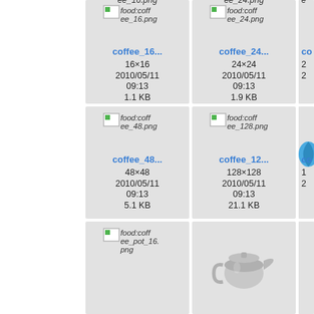[Figure (screenshot): File browser grid showing coffee icon files. Row 1: coffee_16.png (16x16, 2010/05/11 09:13, 1.1KB), coffee_24.png (24x24, 2010/05/11 09:13, 1.9KB), partial third column. Row 2: coffee_48.png (48x48, 2010/05/11 09:13, 5.1KB), coffee_128.png (128x128, 2010/05/11 09:13, 21.1KB), partial third column with blue drop icon. Row 3: food:coffee_pot_16.png (partial), a coffee pot thumbnail, partial third column.]